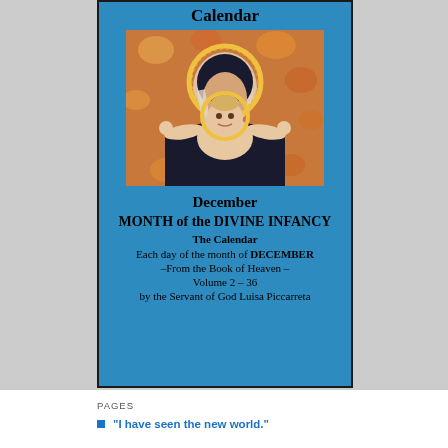Calendar
[Figure (illustration): Painting of the Virgin Mary holding the Christ Child. Mary has a golden halo and is dressed in dark robes. The Christ Child has outstretched arms and a golden halo. Floral background.]
December
MONTH of the DIVINE INFANCY
The Calendar
Each day of the month of DECEMBER
–From the Book of Heaven –
Volume 2 – 36
by the Servant of God Luisa Piccarreta
PAGES
“I have seen the new world.”